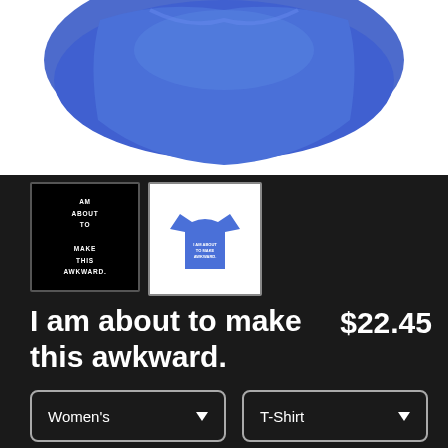[Figure (photo): Blue crumpled fabric/t-shirt product photo on white background, top portion visible]
[Figure (photo): Thumbnail 1: black background with white text reading 'I AM ABOUT TO MAKE THIS AWKWARD.']
[Figure (photo): Thumbnail 2: blue t-shirt with white text graphic on white background]
I am about to make this awkward.
$22.45
Women's
T-Shirt
SELECT YOUR FIT
$22.45
Fitted
$22.45
Regular Unisex